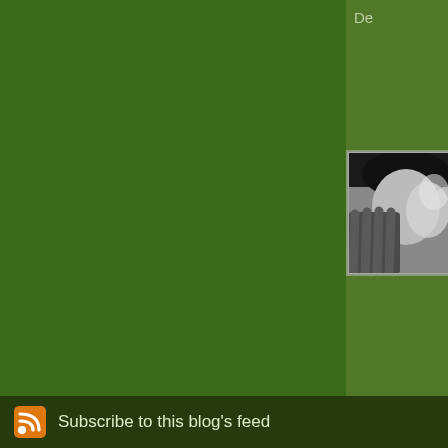De
[Figure (photo): Black and white close-up portrait photo of a person's face, partially obscured]
Ha clo ant
The comments to t
Pi
his landlordship's state Me and my la a bit of a standoff s
Subscribe to this blog's feed